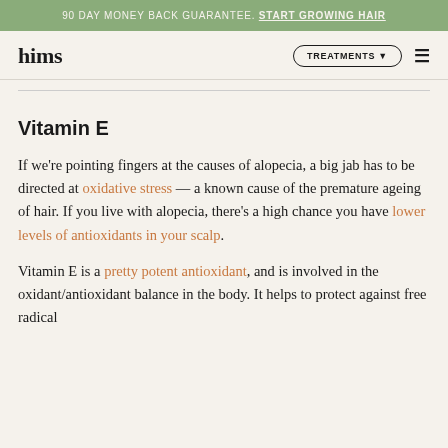90 DAY MONEY BACK GUARANTEE. START GROWING HAIR
hims | TREATMENTS
Vitamin E
If we're pointing fingers at the causes of alopecia, a big jab has to be directed at oxidative stress — a known cause of the premature ageing of hair. If you live with alopecia, there's a high chance you have lower levels of antioxidants in your scalp.
Vitamin E is a pretty potent antioxidant, and is involved in the oxidant/antioxidant balance in the body. It helps to protect against free radical